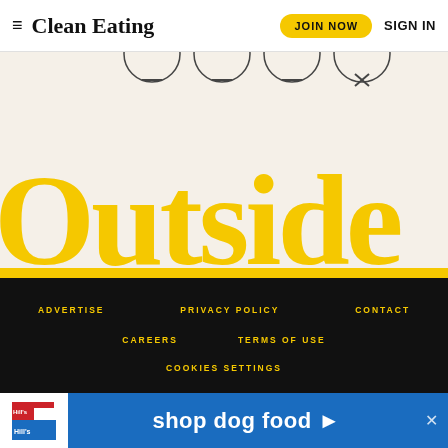Clean Eating  JOIN NOW  SIGN IN
[Figure (logo): Outside magazine large yellow wordmark on cream background with partial circle icons]
ADVERTISE  PRIVACY POLICY  CONTACT  CAREERS  TERMS OF USE  COOKIES SETTINGS
[Figure (illustration): Hill's pet nutrition advertisement banner: shop dog food]